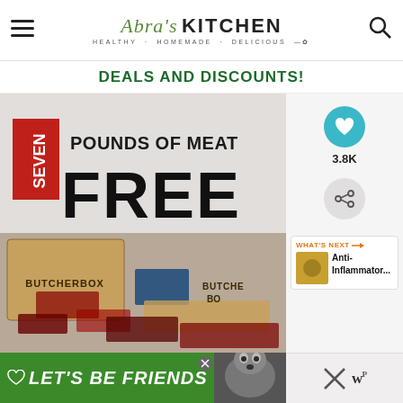Abra's KITCHEN · HEALTHY · HOMEMADE · DELICIOUS
DEALS AND DISCOUNTS!
[Figure (photo): ButcherBox promotional image showing 'SEVEN POUNDS OF MEAT FREE' text with boxes labeled BUTCHERBOX and various packaged meats displayed on a counter]
[Figure (infographic): Social sharing sidebar with heart icon showing 3.8K likes, share button, and a 'WHAT'S NEXT' card showing Anti-Inflammator... link]
[Figure (infographic): Green banner at bottom with 'LET'S BE FRIENDS' text, heart icon, husky dog image, and a close button; right side shows an X icon and 'w' logo]